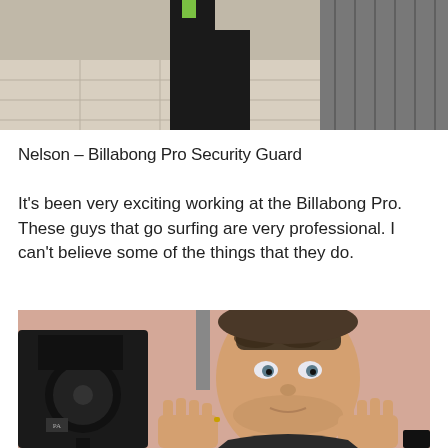[Figure (photo): Top portion of a photo showing a person in dark clothing standing in what appears to be an indoor corridor with tile floor and metal railings]
Nelson – Billabong Pro Security Guard
It's been very exciting working at the Billabong Pro. These guys that go surfing are very professional. I can't believe some of the things that they do.
[Figure (photo): A man with sunglasses on his head, looking at the camera with his hands raised, a large black speaker/PA on his left, in an indoor setting with peach/pink walls]